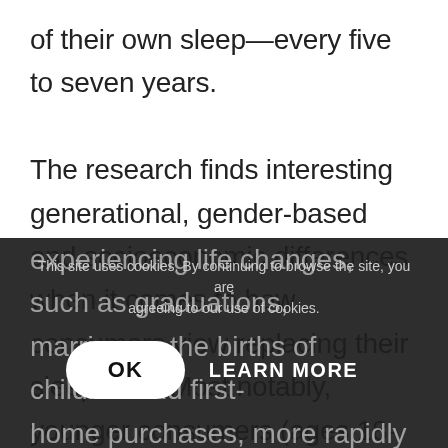of their own sleep—every five to seven years.

The research finds interesting generational, gender-based and socioeconomic differences when it comes to how consumers view replacing their sleep sets. Most notably, younger consumers (ages 18-35) both expect to replace and actually do replace their mattresses in more compressed cycles than their older peers, perhaps because they are experiencing life changes, such as graduations, marriages, the births of children and first-home purchases, more rapidly than older consumers and younger consumers, who are used to replacing products like smartphones
This site uses cookies. By continuing to browse the site, you are agreeing to our use of cookies.